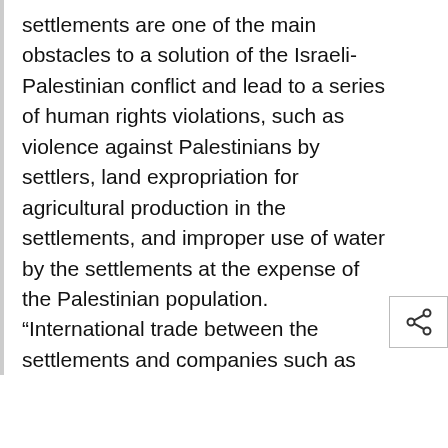settlements are one of the main obstacles to a solution of the Israeli-Palestinian conflict and lead to a series of human rights violations, such as violence against Palestinians by settlers, land expropriation for agricultural production in the settlements, and improper use of water by the settlements at the expense of the Palestinian population. “International trade between the settlements and companies such as
We use cookies to optimise your experience and improve our website.
OK
PREFERENCES